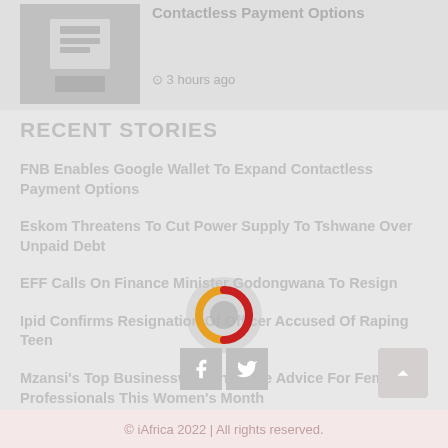[Figure (photo): Thumbnail image for article about Contactless Payment Options, shown in grayscale]
Contactless Payment Options
3 hours ago
RECENT STORIES
FNB Enables Google Wallet To Expand Contactless Payment Options
Eskom Threatens To Cut Power Supply To Tshwane Over Unpaid Debt
EFF Calls On Finance Minister Godongwana To Resign
Ipid Confirms Resignation Of Officer Accused Of Raping Teen
Mzansi's Top Businesswomen Share Advice For Female Professionals This Women's Month
[Figure (infographic): Loading spinner with orange left arc and red right arc on grey circle background]
© iAfrica 2022 | All rights reserved.